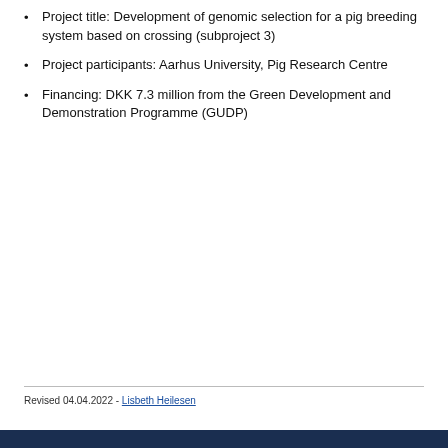Project title: Development of genomic selection for a pig breeding system based on crossing (subproject 3)
Project participants: Aarhus University, Pig Research Centre
Financing: DKK 7.3 million from the Green Development and Demonstration Programme (GUDP)
Revised 04.04.2022 - Lisbeth Heilesen